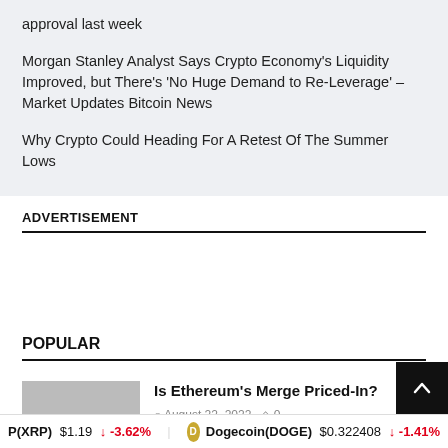approval last week
Morgan Stanley Analyst Says Crypto Economy's Liquidity Improved, but There's 'No Huge Demand to Re-Leverage' – Market Updates Bitcoin News
Why Crypto Could Heading For A Retest Of The Summer Lows
ADVERTISEMENT
POPULAR
Is Ethereum's Merge Priced-In?
August 22, 2022  0
P(XRP) $1.19 ↓ -3.62%   Dogecoin(DOGE) $0.322408 ↓ -1.41%